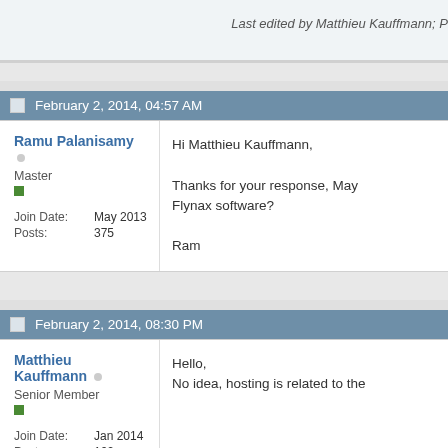Last edited by Matthieu Kauffmann; P
February 2, 2014, 04:57 AM
Ramu Palanisamy
Master
Join Date: May 2013
Posts: 375
Hi Matthieu Kauffmann,

Thanks for your response, May Flynax software?

Ram
February 2, 2014, 08:30 PM
Matthieu Kauffmann
Senior Member
Join Date: Jan 2014
Posts: 102
Hello,
No idea, hosting is related to the
February 3, 2014, 05:23 AM